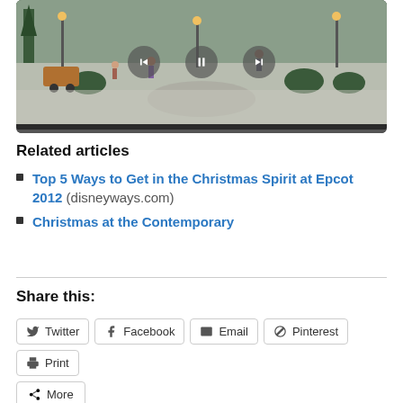[Figure (screenshot): A video player showing a Christmas village scene with miniature figurines, snow-covered ground, trees and lamp posts. The video has playback controls (back, pause, forward) overlaid in the center.]
Related articles
Top 5 Ways to Get in the Christmas Spirit at Epcot 2012 (disneyways.com)
Christmas at the Contemporary
Share this:
Twitter  Facebook  Email  Pinterest  Print  More